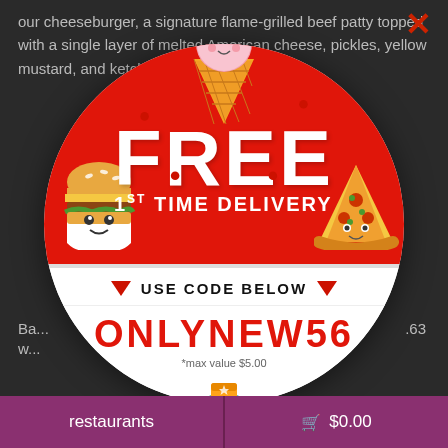our cheeseburger, a signature flame-grilled beef patty topped with a single layer of melted American cheese, pickles, yellow mustard, and ketchup on a sesame
[Figure (infographic): Promotional overlay circle with 'FREE 1ST TIME DELIVERY' offer. Red top half with cartoon food icons (ice cream, burger, pizza). White bottom with 'USE CODE BELOW' and promo code ONLYNEW56, max value $5.00. Takbout & You logo at bottom.]
USE CODE BELOW
ONLYNEW56
*max value $5.00
restaurants   $0.00